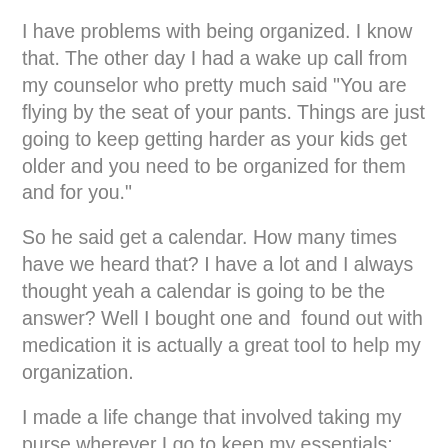I have problems with being organized. I know that. The other day I had a wake up call from my counselor who pretty much said "You are flying by the seat of your pants. Things are just going to keep getting harder as your kids get older and you need to be organized for them and for you."
So he said get a calendar. How many times have we heard that? I have a lot and I always thought yeah a calendar is going to be the answer? Well I bought one and  found out with medication it is actually a great tool to help my organization.
I made a life change that involved taking my purse wherever I go to keep my essentials; phone, keys, wallet, and now my calendar. My calendar is small enough to carry around but big enough to fit in more than a tiny box per day.
Plus side is I look for stuff less and right when someone schedules something with me I can write it down quickly and not try to remember it later. This has also helped much of my anxiety because now I feel like I know what is going on and that I am not forgetting anything. My counselor even